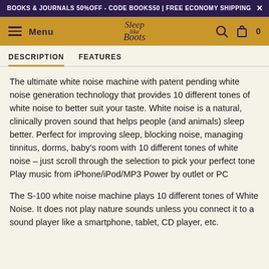BOOKS & JOURNALS 50%OFF - CODE BOOKS50 | FREE ECONOMY SHIPPING
Menu | Sleep Like Boots | Search | Cart 0
DESCRIPTION   FEATURES
The ultimate white noise machine with patent pending white noise generation technology that provides 10 different tones of white noise to better suit your taste. White noise is a natural, clinically proven sound that helps people (and animals) sleep better. Perfect for improving sleep, blocking noise, managing tinnitus, dorms, baby’s room with 10 different tones of white noise – just scroll through the selection to pick your perfect tone Play music from iPhone/iPod/MP3 Power by outlet or PC
The S-100 white noise machine plays 10 different tones of White Noise. It does not play nature sounds unless you connect it to a sound player like a smartphone, tablet, CD player, etc.